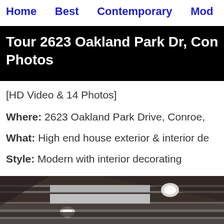Home   Best   Contemporary   Mod
Tour 2623 Oakland Park Dr, Conro Photos
[HD Video & 14 Photos]
Where: 2623 Oakland Park Drive, Conroe,
What: High end house exterior & interior de
Style: Modern with interior decorating
[Figure (photo): Interior ceiling photo showing modern recessed lighting on a dark coffered ceiling with light gray panels]